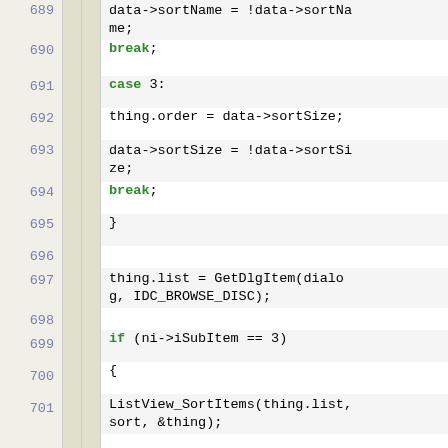Code listing lines 689-701 showing C++ source code with sort toggle logic
689: data->sortName = !data->sortName;
690: break;
691: case 3:
692: thing.order = data->sortSize;
693: data->sortSize = !data->sortSize;
694: break;
695: }
696: (blank)
697: thing.list = GetDlgItem(dialog, IDC_BROWSE_DISC);
698: (blank)
699: if (ni->iSubItem == 3)
700: {
701: ListView_SortItems(thing.list, sort, &thing);